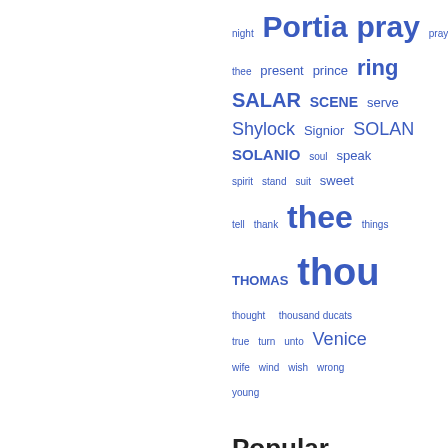night  Portia  pray  pray thee  present  prince  ring  SALAR  SCENE  serve  Shylock  Signior  SOLAN  SOLANIO  soul  speak  spirit  stand  suit  sweet  tell  thank  thee  things  THOMAS  thou  thought  thousand ducats  true  turn  unto  Venice  wife  wind  wish  wrong  young
Popular passages
Page 84 - How sweet the moonlight sleeps upon